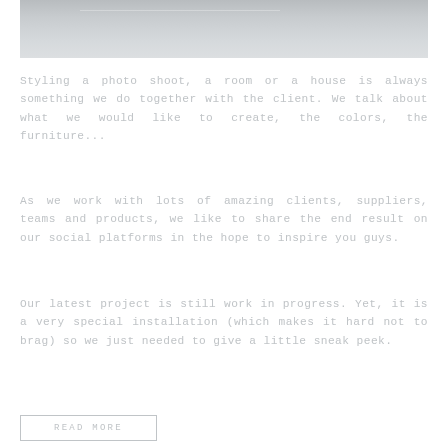[Figure (photo): Light gray photograph — appears to show a room or surface, cropped at top of page]
Styling a photo shoot, a room or a house is always something we do together with the client. We talk about what we would like to create, the colors, the furniture...
As we work with lots of amazing clients, suppliers, teams and products, we like to share the end result on our social platforms in the hope to inspire you guys.
Our latest project is still work in progress. Yet, it is a very special installation (which makes it hard not to brag) so we just needed to give a little sneak peek.
READ MORE